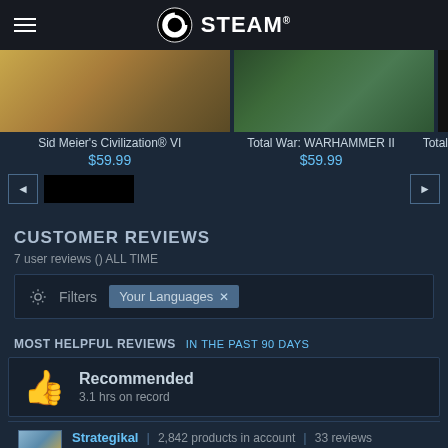STEAM
[Figure (screenshot): Partial game carousel showing Sid Meier's Civilization VI, Total War: WARHAMMER II game thumbnails]
Sid Meier's Civilization® VI   $59.99      Total War: WARHAMMER II   $59.99      Total
CUSTOMER REVIEWS
7 user reviews () ALL TIME
Filters   Your Languages ×
MOST HELPFUL REVIEWS   IN THE PAST 90 DAYS
Recommended
3.1 hrs on record
Strategikal | 2,842 products in account | 33 reviews
POSTED: JUNE 25   DIRECT FROM STEAM